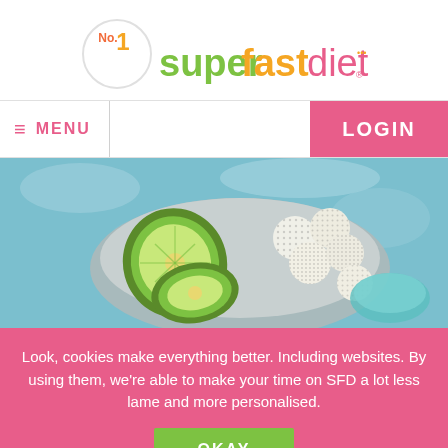[Figure (logo): No.1 SuperFastDiet logo — circle with 'No.1' in orange and the text 'superfastdiet' in green, orange, and pink with registration mark and decorative dots]
≡ MENU
LOGIN
[Figure (photo): Overhead photo of a bowl with kiwi slices and white energy balls/bliss balls, on a blue textured background]
Look, cookies make everything better. Including websites. By using them, we're able to make your time on SFD a lot less lame and more personalised.
OKAY